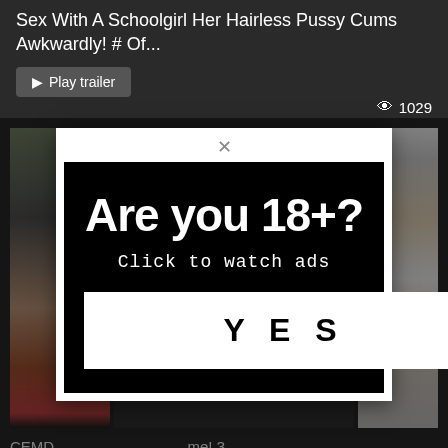Sex With A Schoolgirl Her Hairless Pussy Cums Awkwardly! # Of...
Play trailer
1029
[Figure (screenshot): Thumbnail images of video content on dark background]
[Figure (infographic): Age verification modal popup with black background. Large text reads 'Are you 18+?' with subtitle 'Click to watch ads' and a white YES button below. Modal has white border and X close button at top.]
CEMD... me! 3
Aoi Ku...ng